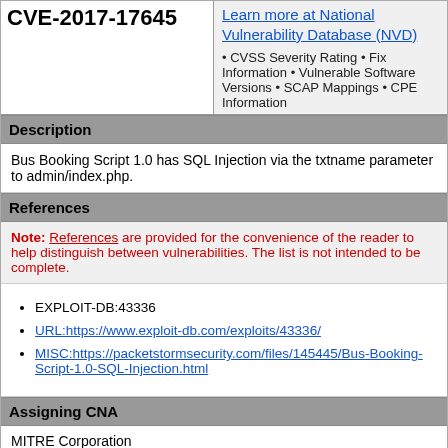CVE-2017-17645
Learn more at National Vulnerability Database (NVD) • CVSS Severity Rating • Fix Information • Vulnerable Software Versions • SCAP Mappings • CPE Information
Description
Bus Booking Script 1.0 has SQL Injection via the txtname parameter to admin/index.php.
References
Note: References are provided for the convenience of the reader to help distinguish between vulnerabilities. The list is not intended to be complete.
EXPLOIT-DB:43336
URL:https://www.exploit-db.com/exploits/43336/
MISC:https://packetstormsecurity.com/files/145445/Bus-Booking-Script-1.0-SQL-Injection.html
Assigning CNA
MITRE Corporation
Date Record Created